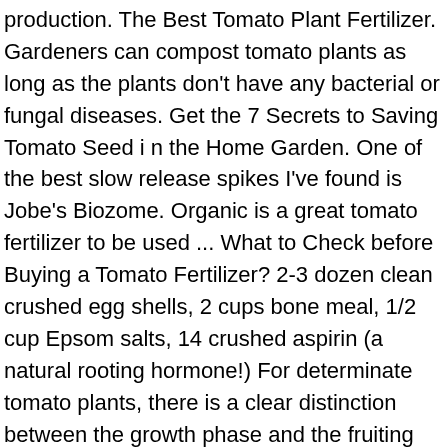production. The Best Tomato Plant Fertilizer. Gardeners can compost tomato plants as long as the plants don't have any bacterial or fungal diseases. Get the 7 Secrets to Saving Tomato Seed i n the Home Garden. One of the best slow release spikes I've found is Jobe's Biozome. Organic is a great tomato fertilizer to be used ... What to Check before Buying a Tomato Fertilizer? 2-3 dozen clean crushed egg shells, 2 cups bone meal, 1/2 cup Epsom salts, 14 crushed aspirin (a natural rooting hormone!) For determinate tomato plants, there is a clear distinction between the growth phase and the fruiting phase, so you can cater to those specific nutrition needs. Both fresh and dried versions are considered excellent soil amendments. This organic all-purpose fertilizer has also been around for thousands of years and it works great, but it takes weeks to make, and the mixture must have time to rot before you can use it. How to Make Your Own Lawn Fertilizer. It is very easy to do it if you know the right trick. 2-3 dozen clean crushed egg shells, 2 cups bone meal, 1/2 cup Epsom salts, 14 crushed